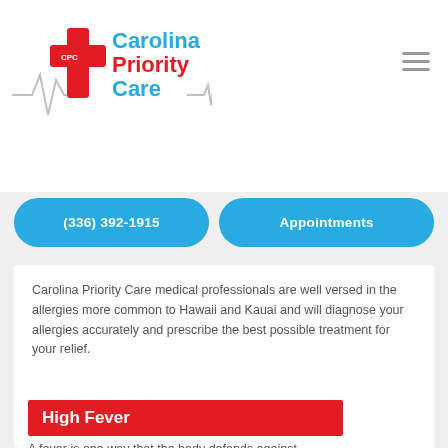[Figure (logo): Carolina Priority Care (CPC) logo with red cross and heartbeat line, blue and red text]
(336) 392-1915
Appointments
Carolina Priority Care medical professionals are well versed in the allergies more common to Hawaii and Kauai and will diagnose your allergies accurately and prescribe the best possible treatment for your relief.
High Fever
A fever is one way that the body defends against